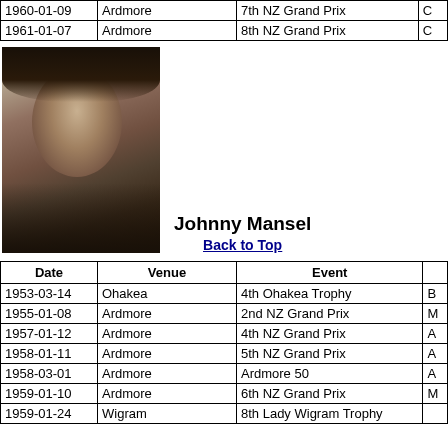| Date | Venue | Event |  |
| --- | --- | --- | --- |
| 1960-01-09 | Ardmore | 7th NZ Grand Prix | C |
| 1961-01-07 | Ardmore | 8th NZ Grand Prix | C |
[Figure (photo): Black and white portrait photo of Johnny Mansel]
Johnny Mansel
Back to Top
| Date | Venue | Event |  |
| --- | --- | --- | --- |
| 1953-03-14 | Ohakea | 4th Ohakea Trophy | B |
| 1955-01-08 | Ardmore | 2nd NZ Grand Prix | M |
| 1957-01-12 | Ardmore | 4th NZ Grand Prix | A |
| 1958-01-11 | Ardmore | 5th NZ Grand Prix | A |
| 1958-03-01 | Ardmore | Ardmore 50 | A |
| 1959-01-10 | Ardmore | 6th NZ Grand Prix | M |
| 1959-01-24 | Wigram | 8th Lady Wigram Trophy |  |